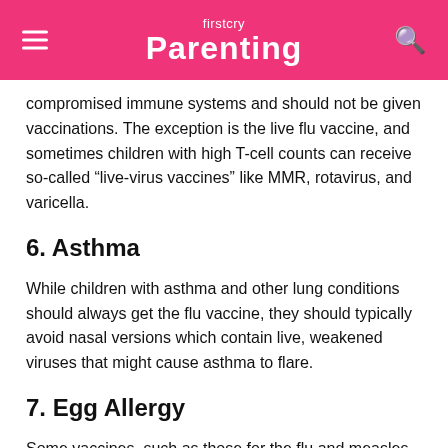firstcry parenting
compromised immune systems and should not be given vaccinations. The exception is the live flu vaccine, and sometimes children with high T-cell counts can receive so-called “live-virus vaccines” like MMR, rotavirus, and varicella.
6. Asthma
While children with asthma and other lung conditions should always get the flu vaccine, they should typically avoid nasal versions which contain live, weakened viruses that might cause asthma to flare.
7. Egg Allergy
Some vaccines, such as those for the flu and measles virus,